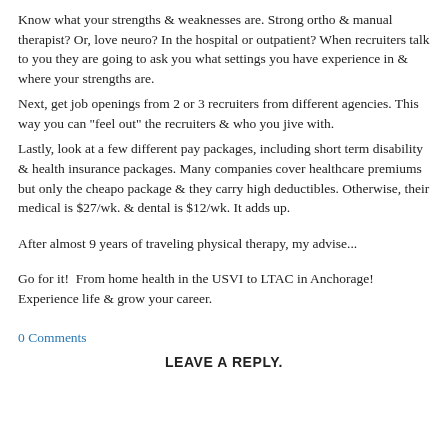Know what your strengths & weaknesses are. Strong ortho & manual therapist? Or, love neuro? In the hospital or outpatient? When recruiters talk to you they are going to ask you what settings you have experience in & where your strengths are.
Next, get job openings from 2 or 3 recruiters from different agencies. This way you can "feel out" the recruiters & who you jive with.
Lastly, look at a few different pay packages, including short term disability & health insurance packages. Many companies cover healthcare premiums but only the cheapo package & they carry high deductibles. Otherwise, their medical is $27/wk. & dental is $12/wk. It adds up.
After almost 9 years of traveling physical therapy, my advise...
Go for it!  From home health in the USVI to LTAC in Anchorage! Experience life & grow your career.
0 Comments
LEAVE A REPLY.